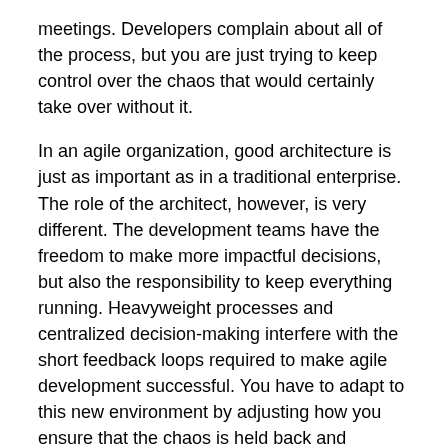meetings. Developers complain about all of the process, but you are just trying to keep control over the chaos that would certainly take over without it.
In an agile organization, good architecture is just as important as in a traditional enterprise. The role of the architect, however, is very different. The development teams have the freedom to make more impactful decisions, but also the responsibility to keep everything running. Heavyweight processes and centralized decision-making interfere with the short feedback loops required to make agile development successful. You have to adapt to this new environment by adjusting how you ensure that the chaos is held back and enabling the teams to make good decisions”
“To be successful, you focus on three key areas:
Know the code
Make the architecture visible to everyone